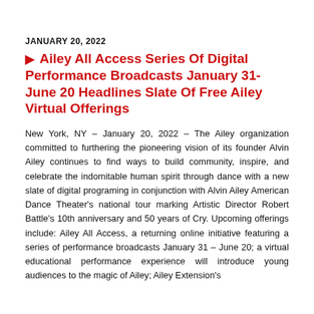JANUARY 20, 2022
Ailey All Access Series Of Digital Performance Broadcasts January 31-June 20 Headlines Slate Of Free Ailey Virtual Offerings
New York, NY – January 20, 2022 – The Ailey organization committed to furthering the pioneering vision of its founder Alvin Ailey continues to find ways to build community, inspire, and celebrate the indomitable human spirit through dance with a new slate of digital programing in conjunction with Alvin Ailey American Dance Theater's national tour marking Artistic Director Robert Battle's 10th anniversary and 50 years of Cry. Upcoming offerings include: Ailey All Access, a returning online initiative featuring a series of performance broadcasts January 31 – June 20; a virtual educational performance experience will introduce young audiences to the magic of Ailey; Ailey Extension's